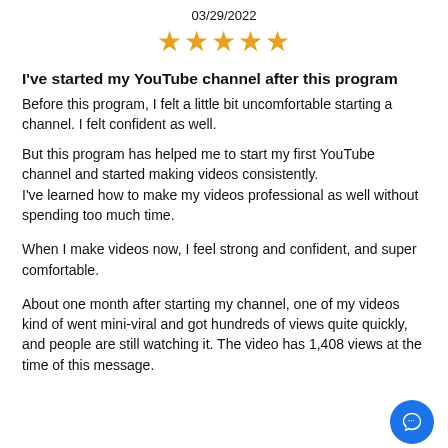03/29/2022
[Figure (other): Five orange star rating icons]
I've started my YouTube channel after this program
Before this program, I felt a little bit uncomfortable starting a channel. I felt confident as well.

But this program has helped me to start my first YouTube channel and started making videos consistently.
I've learned how to make my videos professional as well without spending too much time.

When I make videos now, I feel strong and confident, and super comfortable.

About one month after starting my channel, one of my videos kind of went mini-viral and got hundreds of views quite quickly, and people are still watching it. The video has 1,408 views at the time of this message.